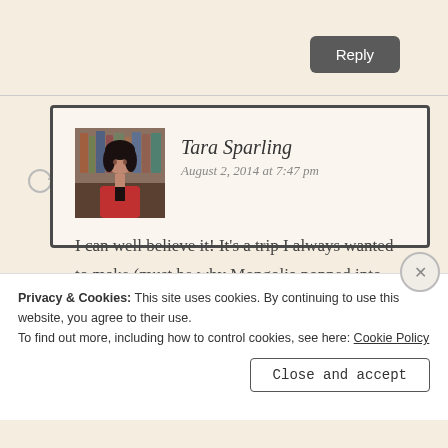Reply
Tara Sparling
August 2, 2014 at 7:47 pm
I can well believe it! It’s a trip I always wanted to make (must be why Mongolia popped into my head in the first place). So tell us – any romance?!
Privacy & Cookies: This site uses cookies. By continuing to use this website, you agree to their use.
To find out more, including how to control cookies, see here: Cookie Policy
Close and accept